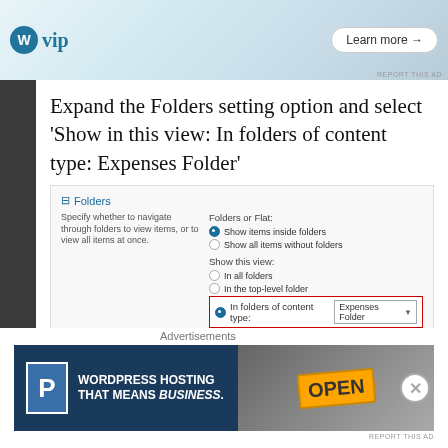[Figure (screenshot): Top advertisement banner showing WordPress VIP logo with Slack and Facebook card designs, and a 'Learn more →' button]
Expand the Folders setting option and select 'Show in this view: In folders of content type: Expenses Folder'
[Figure (screenshot): SharePoint settings dialog showing Folders options: 'Folders or Flat' with 'Show items inside folders' and 'Show all items without folders', then 'Show this view' with 'In all folders', 'In the top-level folder', and 'In folders of content type: Expenses Folder' highlighted in red border]
After making these changes the Views section of the library settings should be similar to this
[Figure (screenshot): Bottom advertisement banner: WordPress Hosting That Means BUSINESS with parking P logo and OPEN sign photo]